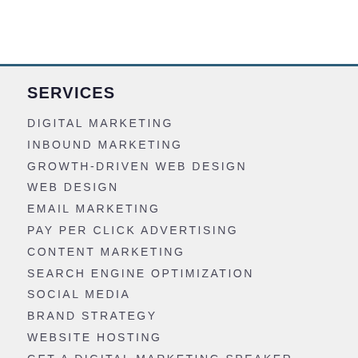SERVICES
DIGITAL MARKETING
INBOUND MARKETING
GROWTH-DRIVEN WEB DESIGN
WEB DESIGN
EMAIL MARKETING
PAY PER CLICK ADVERTISING
CONTENT MARKETING
SEARCH ENGINE OPTIMIZATION
SOCIAL MEDIA
BRAND STRATEGY
WEBSITE HOSTING
GET A DIGITAL MARKETING SPEAKER